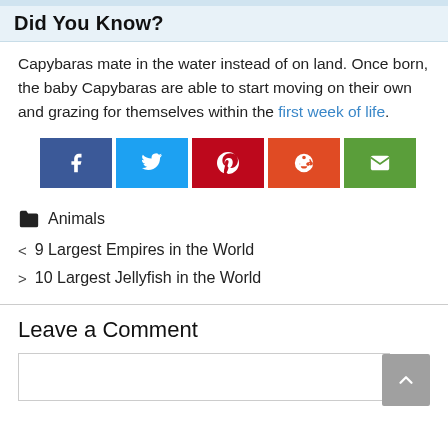Did You Know?
Capybaras mate in the water instead of on land. Once born, the baby Capybaras are able to start moving on their own and grazing for themselves within the first week of life.
[Figure (infographic): Social sharing buttons: Facebook (blue), Twitter (light blue), Pinterest (red), Reddit (orange), Email (green)]
Animals
< 9 Largest Empires in the World
> 10 Largest Jellyfish in the World
Leave a Comment